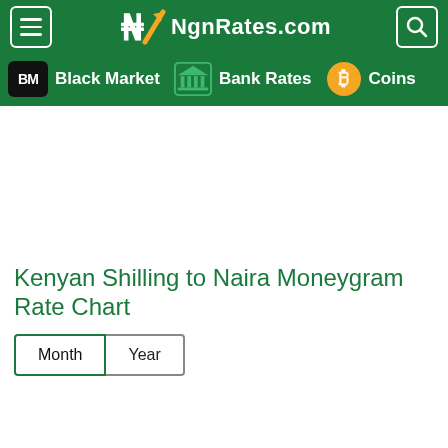NgnRates.com
Black Market  Bank Rates  Coins
Kenyan Shilling to Naira Moneygram Rate Chart